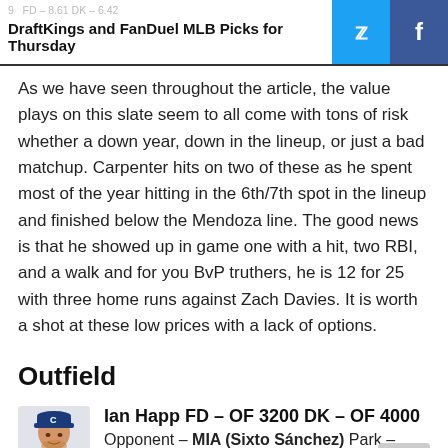DraftKings and FanDuel MLB Picks for Thursday
As we have seen throughout the article, the value plays on this slate seem to all come with tons of risk whether a down year, down in the lineup, or just a bad matchup. Carpenter hits on two of these as he spent most of the year hitting in the 6th/7th spot in the lineup and finished below the Mendoza line. The good news is that he showed up in game one with a hit, two RBI, and a walk and for you BvP truthers, he is 12 for 25 with three home runs against Zach Davies. It is worth a shot at these low prices with a lack of options.
Outfield
Ian Happ FD - OF 3200 DK - OF 4000
Opponent - MIA (Sixto Sánchez) Park - CHC
FD - 11.59 DK - 8.7